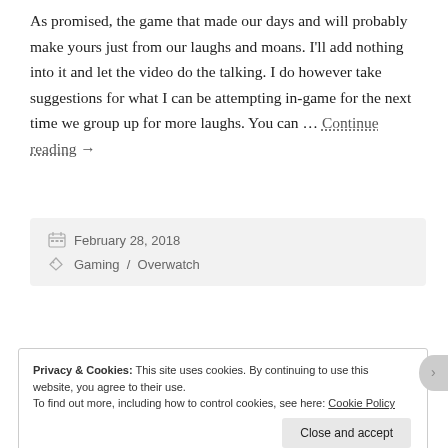As promised, the game that made our days and will probably make yours just from our laughs and moans. I'll add nothing into it and let the video do the talking. I do however take suggestions for what I can be attempting in-game for the next time we group up for more laughs. You can … Continue reading →
February 28, 2018
Gaming / Overwatch
Privacy & Cookies: This site uses cookies. By continuing to use this website, you agree to their use. To find out more, including how to control cookies, see here: Cookie Policy
Close and accept